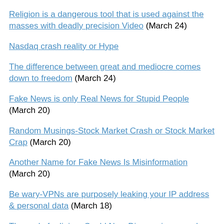Religion is a dangerous tool that is used against the masses with deadly precision Video (March 24)
Nasdaq crash reality or Hype
The difference between great and mediocre comes down to freedom (March 24)
Fake News is only Real News for Stupid People  (March 20)
Random Musings-Stock Market Crash or Stock Market Crap (March 20)
Another Name for Fake News Is Misinformation  (March 20)
Be wary-VPNs are purposely leaking your IP address & personal data (March 18)
The end of religion: Could New Discoveries upend...